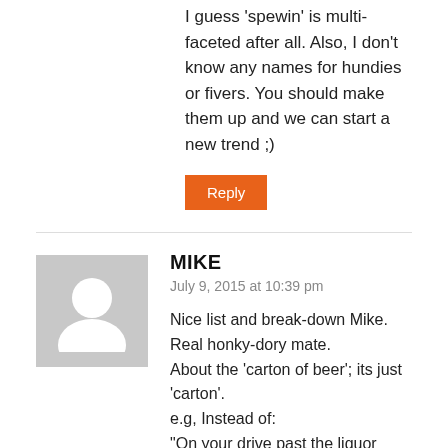I guess ‘spewin’ is multi-faceted after all. Also, I don’t know any names for hundies or fivers. You should make them up and we can start a new trend ;)
Reply
MIKE
July 9, 2015 at 10:39 pm
Nice list and break-down Mike. Real honky-dory mate.
About the ‘carton of beer’; its just ‘carton’.
e.g, Instead of:
“On your drive past the liquor shop on your way around to my barbeque this afternoon would you mind purchase a 24 box of beer for